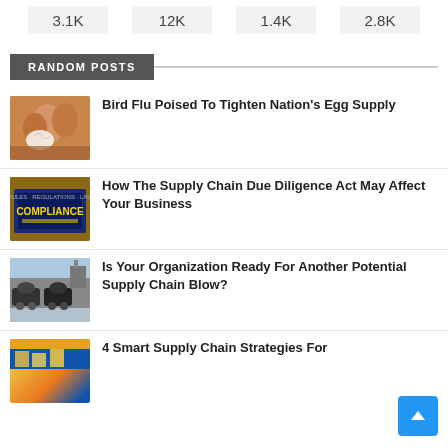3.1K  12K  1.4K  2.8K
RANDOM POSTS
Bird Flu Poised To Tighten Nation's Egg Supply
How The Supply Chain Due Diligence Act May Affect Your Business
Is Your Organization Ready For Another Potential Supply Chain Blow?
4 Smart Supply Chain Strategies For